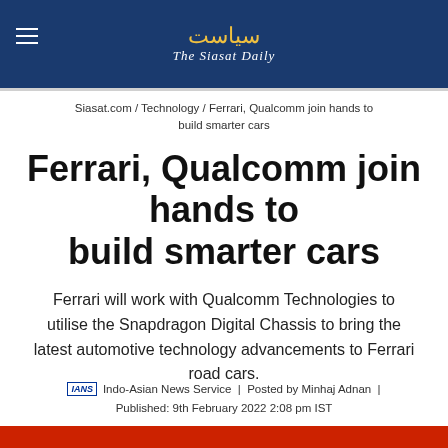The Siasat Daily
Siasat.com / Technology / Ferrari, Qualcomm join hands to build smarter cars
Ferrari, Qualcomm join hands to build smarter cars
Ferrari will work with Qualcomm Technologies to utilise the Snapdragon Digital Chassis to bring the latest automotive technology advancements to Ferrari road cars.
IANS  Indo-Asian News Service  |  Posted by Minhaj Adnan  |
Published: 9th February 2022 2:08 pm IST